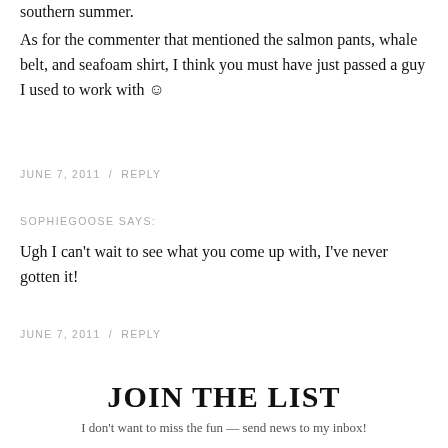southern summer.
As for the commenter that mentioned the salmon pants, whale belt, and seafoam shirt, I think you must have just passed a guy I used to work with ☺
JUNE 7, 2011 / REPLY
SOPHIEGOOSE SAYS:
Ugh I can't wait to see what you come up with, I've never gotten it!
JUNE 7, 2011 / REPLY
JOIN THE LIST
I don't want to miss the fun — send news to my inbox!